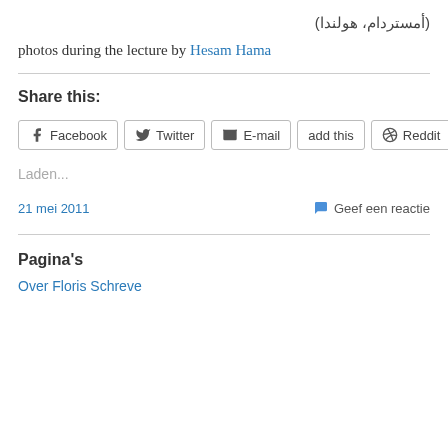(أمستردام، هولندا)
photos during the lecture by Hesam Hama
Share this:
Facebook | Twitter | E-mail | add this | Reddit
Laden...
21 mei 2011    💬 Geef een reactie
Pagina's
Over Floris Schreve